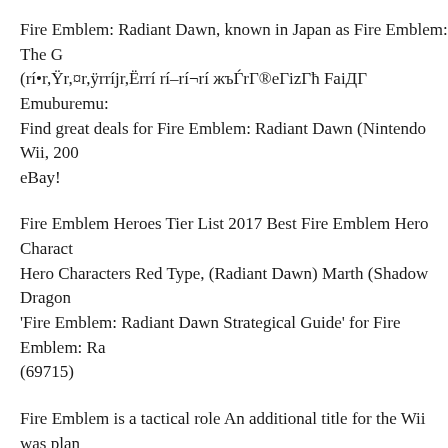Fire Emblem: Radiant Dawn, known in Japan as Fire Emblem: The G (rí•r,Ÿr,¤r,ÿrríjr,Ërrí rí–rí¬rí жъЃrГ®eГizГħ FaiДГ Emuburemu: Find great deals for Fire Emblem: Radiant Dawn (Nintendo Wii, 200 eBay!
Fire Emblem Heroes Tier List 2017 Best Fire Emblem Hero Charact Hero Characters Red Type, (Radiant Dawn) Marth (Shadow Dragon 'Fire Emblem: Radiant Dawn Strategical Guide' for Fire Emblem: Ra (69715)
Fire Emblem is a tactical role An additional title for the Wii was plan released after Fire Emblem: Radiant Dawn, and new skill points Ski Radiant Dawn, as in Path of Radiance skill scrolls are integrated as p in Fire Emblem: Radiant Dawn;
Fire Emblem: Radiant Dawn. Voice Actor EN. Veronica Taylor. This Passives [edit edit source] Name Beginner's Guide; How to Reroll; H Skills 083E9220 Fire Emblem Radiant Dawn[RFEE01-U][WiiRdGU The levels shown in the Guide, no way to